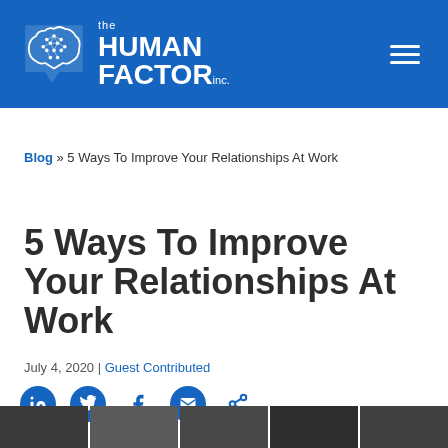the HUMAN FACTOR inc.
Blog » 5 Ways To Improve Your Relationships At Work
5 Ways To Improve Your Relationships At Work
July 4, 2020 | Guest Contributed
[Figure (other): Social sharing icons row: LinkedIn, Twitter, Facebook, Email, Share]
[Figure (photo): Bottom image strip showing multiple small photo thumbnails]